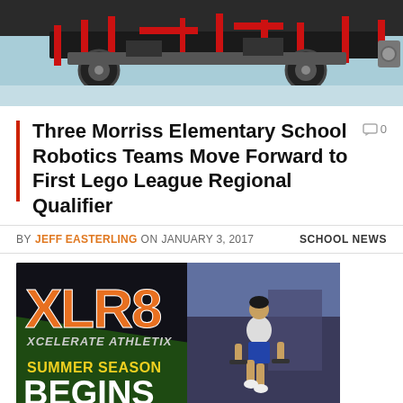[Figure (photo): Top portion of a LEGO robotics vehicle/robot build with red and black pieces on a light blue surface]
Three Morriss Elementary School Robotics Teams Move Forward to First Lego League Regional Qualifier
0 comments
BY JEFF EASTERLING ON JANUARY 3, 2017    SCHOOL NEWS
[Figure (photo): XLR8 Xcelerate Athletix advertisement banner showing Summer Season Begins with a youth athlete exercising with dumbbells in a gym]